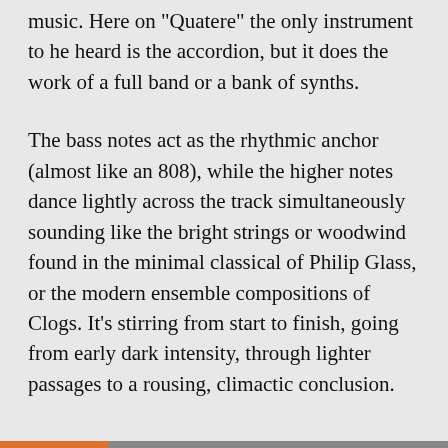music. Here on "Quatere" the only instrument to he heard is the accordion, but it does the work of a full band or a bank of synths.
The bass notes act as the rhythmic anchor (almost like an 808), while the higher notes dance lightly across the track simultaneously sounding like the bright strings or woodwind found in the minimal classical of Philip Glass, or the modern ensemble compositions of Clogs. It's stirring from start to finish, going from early dark intensity, through lighter passages to a rousing, climactic conclusion.